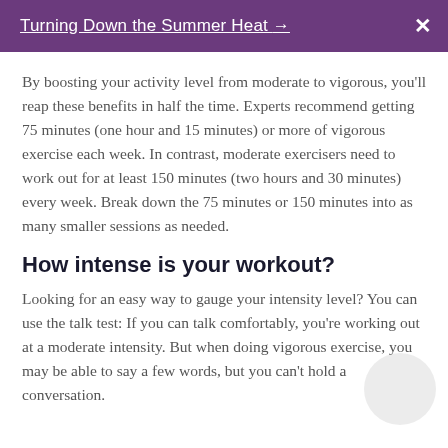Turning Down the Summer Heat → X
By boosting your activity level from moderate to vigorous, you'll reap these benefits in half the time. Experts recommend getting 75 minutes (one hour and 15 minutes) or more of vigorous exercise each week. In contrast, moderate exercisers need to work out for at least 150 minutes (two hours and 30 minutes) every week. Break down the 75 minutes or 150 minutes into as many smaller sessions as needed.
How intense is your workout?
Looking for an easy way to gauge your intensity level? You can use the talk test: If you can talk comfortably, you're working out at a moderate intensity. But when doing vigorous exercise, you may be able to say a few words, but you can't hold a conversation.